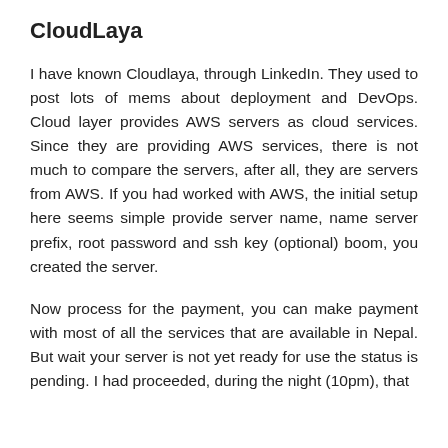CloudLaya
I have known Cloudlaya, through LinkedIn. They used to post lots of mems about deployment and DevOps. Cloud layer provides AWS servers as cloud services. Since they are providing AWS services, there is not much to compare the servers, after all, they are servers from AWS. If you had worked with AWS, the initial setup here seems simple provide server name, name server prefix, root password and ssh key (optional) boom, you created the server.
Now process for the payment, you can make payment with most of all the services that are available in Nepal. But wait your server is not yet ready for use the status is pending. I had proceeded, during the night (10pm), that